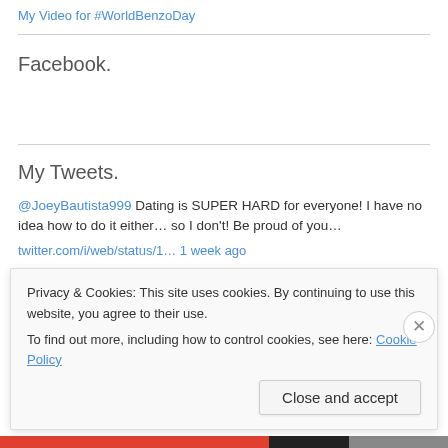My Video for #WorldBenzoDay
Facebook.
My Tweets.
@JoeyBautista999 Dating is SUPER HARD for everyone! I have no idea how to do it either… so I don't! Be proud of you…
twitter.com/i/web/status/1… 1 week ago
World Benzo day is Awareness Day Update 2022 Now You Off
Privacy & Cookies: This site uses cookies. By continuing to use this website, you agree to their use.
To find out more, including how to control cookies, see here: Cookie Policy
Close and accept